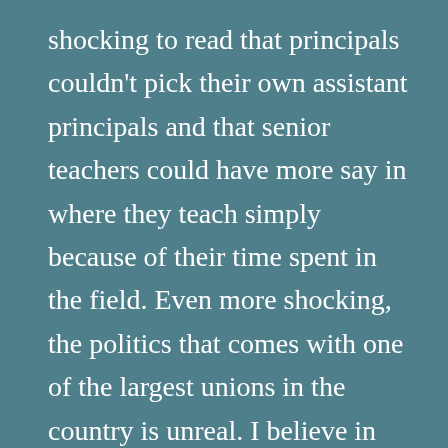shocking to read that principals couldn't pick their own assistant principals and that senior teachers could have more say in where they teach simply because of their time spent in the field. Even more shocking, the politics that comes with one of the largest unions in the country is unreal. I believe in unions and disagree with the idea that if teachers do their jobs well, they wouldn't need policy in place to provide job security. Teaching is far too complex. Students' lives,